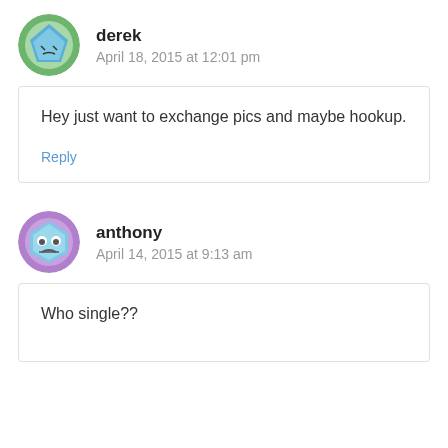derek
April 18, 2015 at 12:01 pm
Hey just want to exchange pics and maybe hookup.
Reply
anthony
April 14, 2015 at 9:13 am
Who single??